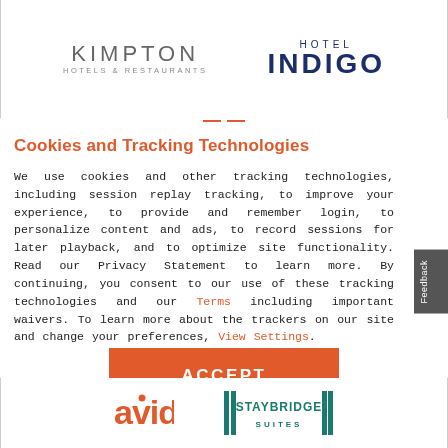[Figure (logo): Kimpton Hotels & Restaurants logo and Hotel Indigo logo side by side in a bordered panel]
Cookies and Tracking Technologies
We use cookies and other tracking technologies, including session replay tracking, to improve your experience, to provide and remember login, to personalize content and ads, to record sessions for later playback, and to optimize site functionality. Read our Privacy Statement to learn more. By continuing, you consent to our use of these tracking technologies and our Terms including important waivers. To learn more about the trackers on our site and change your preferences, View Settings.
[Figure (other): Orange ACCEPT button]
[Figure (logo): Avid Hotels logo and Staybridge Suites logo side by side in a bordered panel]